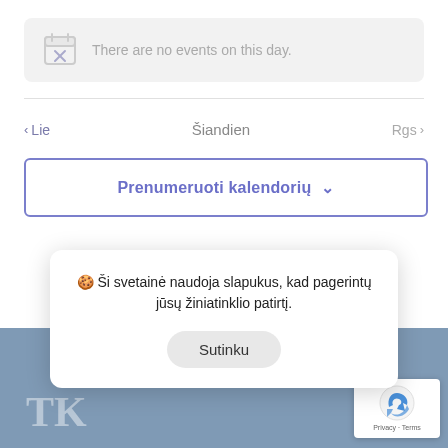[Figure (screenshot): Calendar icon with X mark inside, gray color]
There are no events on this day.
< Lie
Šiandien
Rgs >
Prenumeruoti kalendorių ▾
🍪 Ši svetainė naudoja slapukus, kad pagerintų jūsų žiniatinklio patirtį.
Sutinku
[Figure (logo): TKC logo in blue-gray on footer]
[Figure (logo): Google reCAPTCHA badge with arrow icon and Privacy · Terms text]